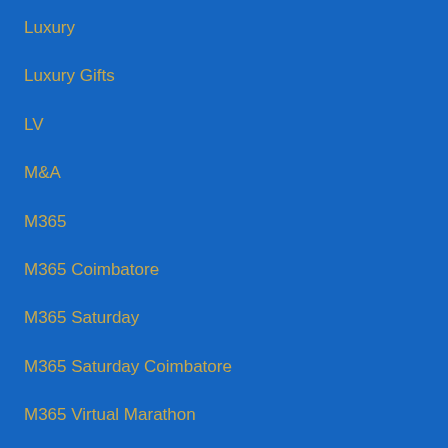Luxury
Luxury Gifts
LV
M&A
M365
M365 Coimbatore
M365 Saturday
M365 Saturday Coimbatore
M365 Virtual Marathon